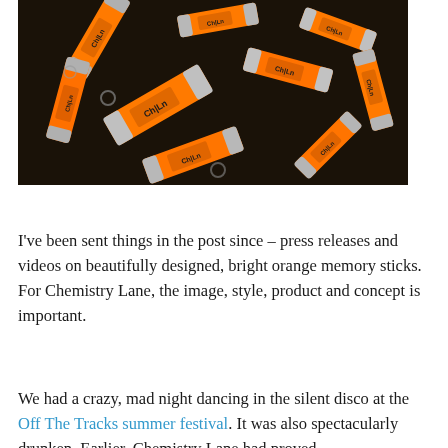[Figure (photo): A pile of bright orange USB memory sticks branded with 'Ch|Ln' logos, scattered on a dark surface.]
I've been sent things in the post since – press releases and videos on beautifully designed, bright orange memory sticks. For Chemistry Lane, the image, style, product and concept is important.
We had a crazy, mad night dancing in the silent disco at the Off The Tracks summer festival. It was also spectacularly drunken. Earlier, Chemistry Lane had proved